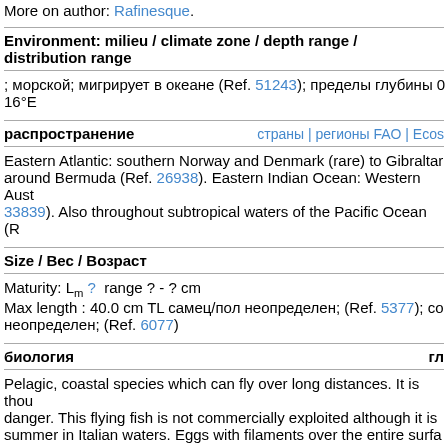More on author: Rafinesque.
Environment: milieu / climate zone / depth range / distribution range
; морской; мигрирует в океане (Ref. 51243); пределы глубины 0 16°E
распространение
страны | регионы FAO | Ecos
Eastern Atlantic: southern Norway and Denmark (rare) to Gibraltar around Bermuda (Ref. 26938). Eastern Indian Ocean: Western Aust 33839). Also throughout subtropical waters of the Pacific Ocean (R
Size / Вес / Возраст
Maturity: Lm ?  range ? - ? cm
Max length : 40.0 cm TL самец/пол неопределен; (Ref. 5377); со неопределен; (Ref. 6077)
биология
гл
Pelagic, coastal species which can fly over long distances. It is thou danger. This flying fish is not commercially exploited although it is summer in Italian waters. Eggs with filaments over the entire surfa
Life cycle and mating behavior
половая з